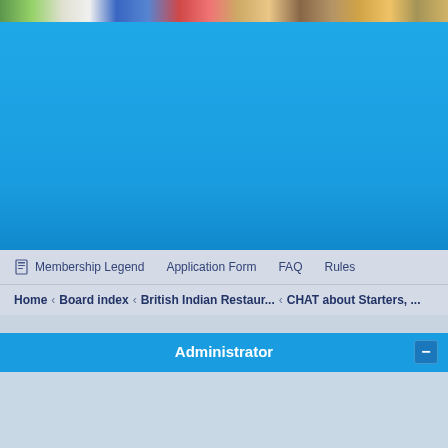[Figure (photo): Header banner with food/colorful images strip at the top]
[Figure (photo): Large blue banner/background area]
Membership Legend  Application Form  FAQ  Rules
Home › Board index › British Indian Restaur... › CHAT about Starters, ...
Administrator
[Figure (screenshot): Light blue-grey content area below Administrator header]